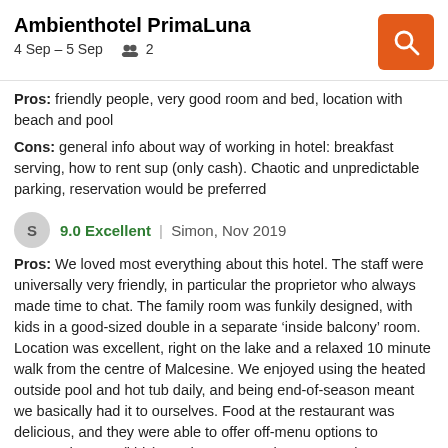Ambienthotel PrimaLuna
4 Sep – 5 Sep  2
Pros: friendly people, very good room and bed, location with beach and pool
Cons: general info about way of working in hotel: breakfast serving, how to rent sup (only cash). Chaotic and unpredictable parking, reservation would be preferred
9.0 Excellent | Simon, Nov 2019
Pros: We loved most everything about this hotel. The staff were universally very friendly, in particular the proprietor who always made time to chat. The family room was funkily designed, with kids in a good-sized double in a separate 'inside balcony' room. Location was excellent, right on the lake and a relaxed 10 minute walk from the centre of Malcesine. We enjoyed using the heated outside pool and hot tub daily, and being end-of-season meant we basically had it to ourselves. Food at the restaurant was delicious, and they were able to offer off-menu options to accomodate our (kids) needs. It wasn't cheap to eat, but definitely well priced for the quality on offer. Regarding location - it's a delightful town to wander around; the castle was much more interesting than expected